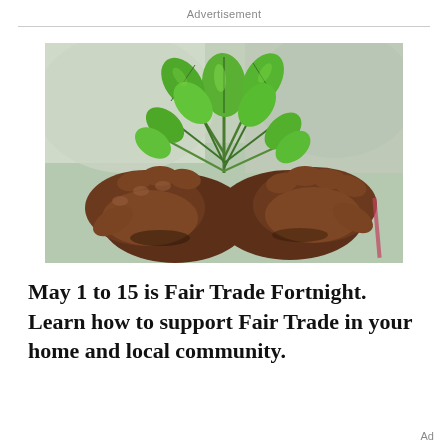Advertisement
[Figure (photo): Close-up photograph of dark-skinned hands cupping a bunch of vibrant green tea leaves, with a blurred white garment in the background.]
May 1 to 15 is Fair Trade Fortnight. Learn how to support Fair Trade in your home and local community.
Ad